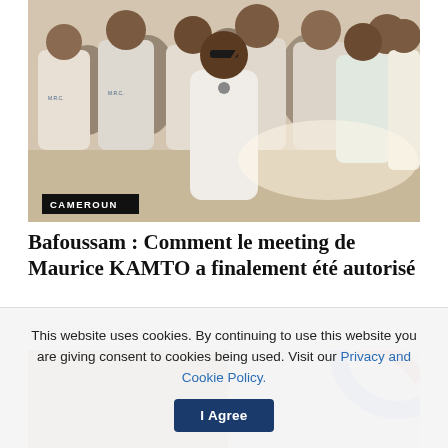[Figure (photo): Group photo of people wearing white t-shirts with M.R.C. logo, posing outdoors. A woman in white dress is in the center making a peace sign. Label 'CAMEROUN' overlaid at bottom left.]
Bafoussam : Comment le meeting de Maurice KAMTO a finalement été autorisé
AUGUST 18, 2022
[Figure (photo): Partial photo showing indoor scene with louvered shutters and a partial circular blue/red logo visible.]
This website uses cookies. By continuing to use this website you are giving consent to cookies being used. Visit our Privacy and Cookie Policy. I Agree